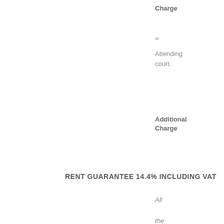Charge
» Attending court.
Additional Charge
RENT GUARANTEE 14.4% INCLUDING VAT
All the above mentioned in Introduction Service and Full